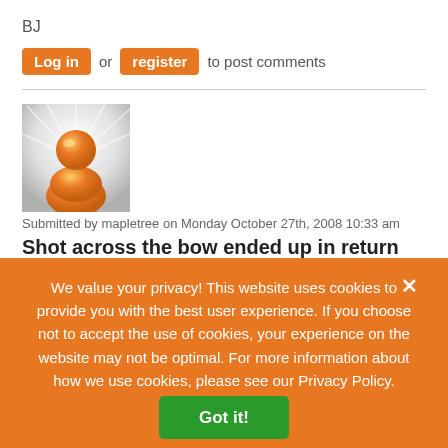BJ
Log in or register to post comments
[Figure (illustration): Orange generic user avatar icon on a light gray/white radial background]
Submitted by mapletree on Monday October 27th, 2008 10:33 am
Shot across the bow ended up in return fire
We value your privacy! This website uses cookies to provide you with the best user experience. If you choose not to accept the use of cookies, your experience on the website may not be optimal. For more information about how we use cookies, please see our Privacy Policy.
Got it!